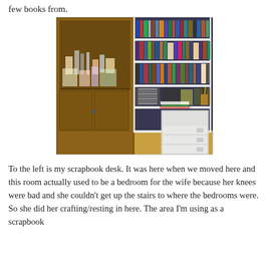few books from.
[Figure (photo): Interior room photo showing a wooden cabinet/bookshelf unit on the left and a white metal shelving unit on the right filled with books, DVDs, and craft supplies. A white filing cabinet is at the bottom right. Hardwood floors visible.]
To the left is my scrapbook desk. It was here when we moved here and this room actually used to be a bedroom for the wife because her knees were bad and she couldn't get up the stairs to where the bedrooms were. So she did her crafting/resting in here. The area I'm using as a scrapbook